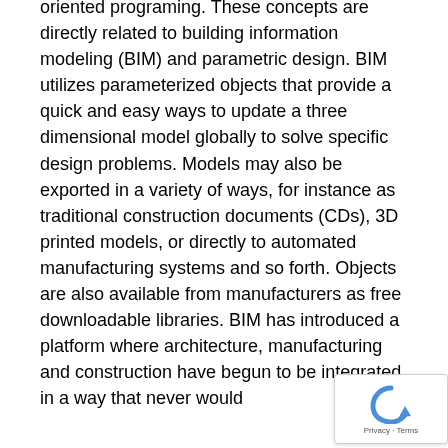oriented programing. These concepts are directly related to building information modeling (BIM) and parametric design. BIM utilizes parameterized objects that provide a quick and easy ways to update a three dimensional model globally to solve specific design problems. Models may also be exported in a variety of ways, for instance as traditional construction documents (CDs), 3D printed models, or directly to automated manufacturing systems and so forth. Objects are also available from manufacturers as free downloadable libraries. BIM has introduced a platform where architecture, manufacturing and construction have begun to be integrated in a way that never would